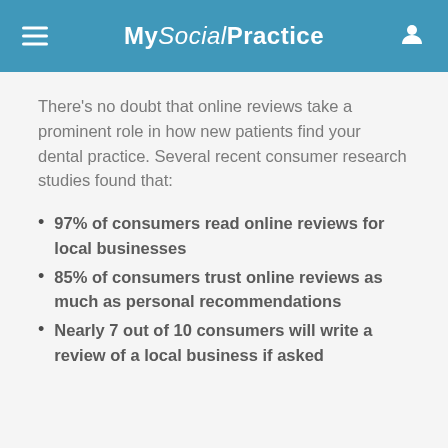MySocialPractice
There's no doubt that online reviews take a prominent role in how new patients find your dental practice. Several recent consumer research studies found that:
97% of consumers read online reviews for local businesses
85% of consumers trust online reviews as much as personal recommendations
Nearly 7 out of 10 consumers will write a review of a local business if asked